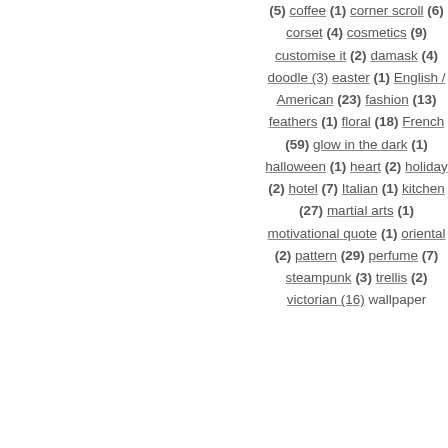(5) coffee (1) corner scroll (6) corset (4) cosmetics (9) customise it (2) damask (4) doodle (3) easter (1) English / American (23) fashion (13) feathers (1) floral (18) French (59) glow in the dark (1) halloween (1) heart (2) holiday (2) hotel (7) Italian (1) kitchen (27) martial arts (1) motivational quote (1) oriental (2) pattern (29) perfume (7) steampunk (3) trellis (2) victorian (16) wallpaper...